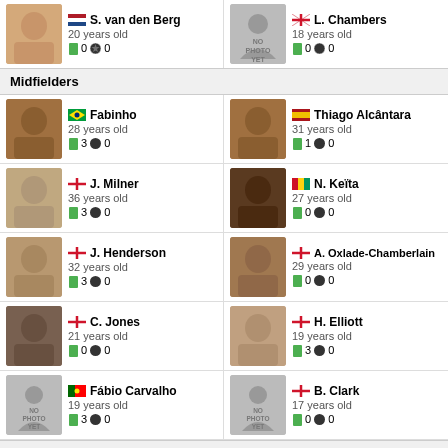S. van den Berg, Netherlands, 20 years old, 0 appearances, 0 goals
L. Chambers, England, 18 years old, 0 appearances, 0 goals
Midfielders
Fabinho, Brazil, 28 years old, 3 appearances, 0 goals
Thiago Alcântara, Spain, 31 years old, 1 appearance, 0 goals
J. Milner, England, 36 years old, 3 appearances, 0 goals
N. Keïta, Guinea, 27 years old, 0 appearances, 0 goals
J. Henderson, England, 32 years old, 3 appearances, 0 goals
A. Oxlade-Chamberlain, England, 29 years old, 0 appearances, 0 goals
C. Jones, England, 21 years old, 0 appearances, 0 goals
H. Elliott, England, 19 years old, 3 appearances, 0 goals
Fábio Carvalho, Portugal, 19 years old, 3 appearances, 0 goals
B. Clark, England, 17 years old, 0 appearances, 0 goals
Attackers
Roberto Firmino, Brazil, 30 years old, 2 appearances, 0 goals
Mohamed Salah, Egypt, 30 years old, 3 appearances, 2 goals